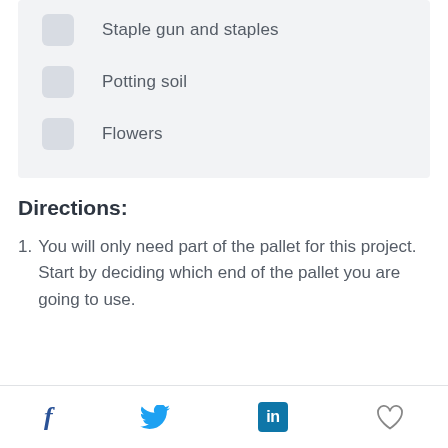Staple gun and staples
Potting soil
Flowers
Directions:
1. You will only need part of the pallet for this project. Start by deciding which end of the pallet you are going to use.
Social share icons: Facebook, Twitter, LinkedIn, Heart/Like